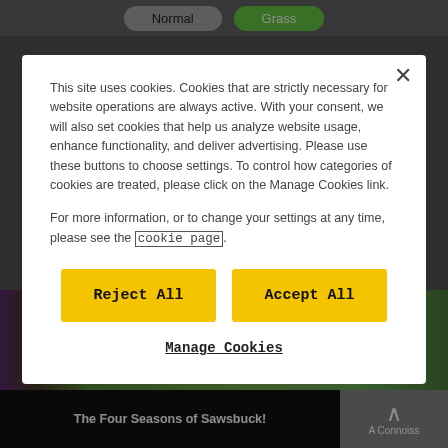[Figure (screenshot): Website background showing type filter buttons (Normal, Grass) at the top and a Pokémon anime screenshot at the bottom showing 'The Four Seasons of Sawsbuck!' with jungle scenery]
This site uses cookies. Cookies that are strictly necessary for website operations are always active. With your consent, we will also set cookies that help us analyze website usage, enhance functionality, and deliver advertising. Please use these buttons to choose settings. To control how categories of cookies are treated, please click on the Manage Cookies link.
For more information, or to change your settings at any time, please see the cookie page.
Reject All
Accept All
Manage Cookies